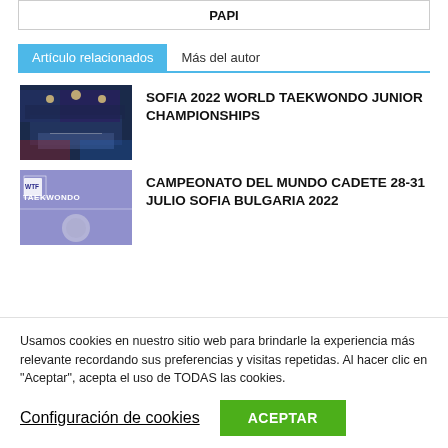Artículo relacionados | Más del autor
[Figure (photo): Sports arena interior with playing court and spectators, blue and red lighting]
SOFIA 2022 WORLD TAEKWONDO JUNIOR CHAMPIONSHIPS
[Figure (photo): Taekwondo brand banner with logo]
CAMPEONATO DEL MUNDO CADETE 28-31 JULIO SOFIA BULGARIA 2022
Usamos cookies en nuestro sitio web para brindarle la experiencia más relevante recordando sus preferencias y visitas repetidas. Al hacer clic en "Aceptar", acepta el uso de TODAS las cookies.
Configuración de cookies
ACEPTAR